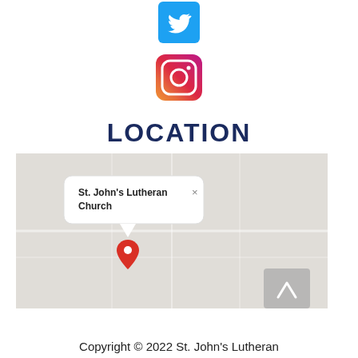[Figure (logo): Twitter bird logo icon, blue square with white bird]
[Figure (logo): Instagram camera logo icon, gradient square with camera outline]
LOCATION
[Figure (map): Google Maps screenshot showing St. John's Lutheran Church location with a red map pin and a white popup label reading 'St. John's Lutheran Church'. A gray scroll-to-top button is in the bottom right corner.]
Copyright © 2022 St. John's Lutheran